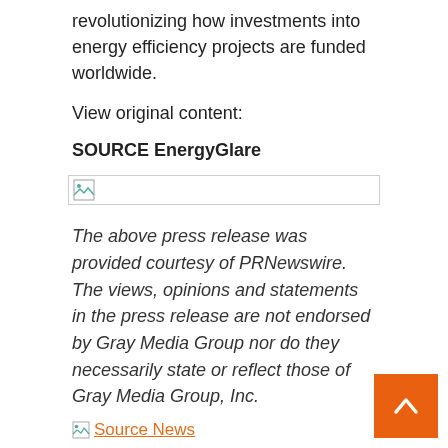revolutionizing how investments into energy efficiency projects are funded worldwide.
View original content:
SOURCE EnergyGlare
[Figure (other): Broken image placeholder icon with a horizontal rule below it]
The above press release was provided courtesy of PRNewswire. The views, opinions and statements in the press release are not endorsed by Gray Media Group nor do they necessarily state or reflect those of Gray Media Group, Inc.
Source News